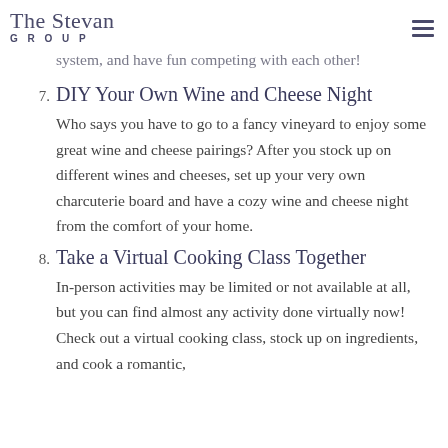The Stevan Group
system, and have fun competing with each other!
7. DIY Your Own Wine and Cheese Night
Who says you have to go to a fancy vineyard to enjoy some great wine and cheese pairings? After you stock up on different wines and cheeses, set up your very own charcuterie board and have a cozy wine and cheese night from the comfort of your home.
8. Take a Virtual Cooking Class Together
In-person activities may be limited or not available at all, but you can find almost any activity done virtually now! Check out a virtual cooking class, stock up on ingredients, and cook a romantic,